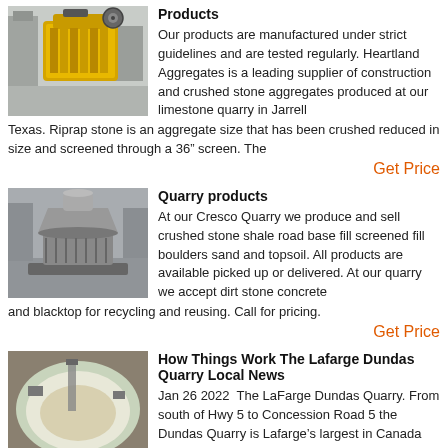[Figure (photo): Yellow industrial jaw crusher machine in a factory setting]
Products
Our products are manufactured under strict guidelines and are tested regularly. Heartland Aggregates is a leading supplier of construction and crushed stone aggregates produced at our limestone quarry in Jarrell Texas. Riprap stone is an aggregate size that has been crushed reduced in size and screened through a 36” screen. The
Get Price
[Figure (photo): Large gray industrial cone crusher machine in a warehouse]
Quarry products
At our Cresco Quarry we produce and sell crushed stone shale road base fill screened fill boulders sand and topsoil. All products are available picked up or delivered. At our quarry we accept dirt stone concrete and blacktop for recycling and reusing. Call for pricing.
Get Price
[Figure (photo): Aerial view of a large circular quarry pit with water]
How Things Work The Lafarge Dundas Quarry Local News
Jan 26 2022  The LaFarge Dundas Quarry. From south of Hwy 5 to Concession Road 5 the Dundas Quarry is Lafarge’s largest in Canada and has been in operation